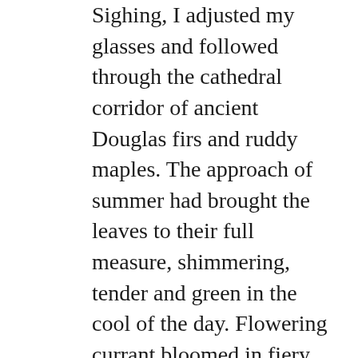Sighing, I adjusted my glasses and followed through the cathedral corridor of ancient Douglas firs and ruddy maples. The approach of summer had brought the leaves to their full measure, shimmering, tender and green in the cool of the day. Flowering currant bloomed in fiery profusion; the native Oregon grape that flourished on the forest floor was putting forth blossoms of brightest yellow. A few leftover daffodils persevered, their gray-green spikes shooting from the loamy soil, but I took no notice. I just wanted to catch my cat.
The adventure cat program, a fast-growing faction of felines who accompany their humans on outdoor excursions, had sounded like so much fun when Blake put out the word. Blakely Brooks, fellow volunteer at Friends of Felines cat shelter, started the group as a way to get indoor cats outside for